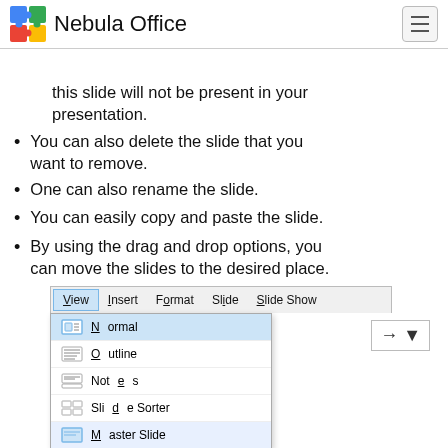Nebula Office
this slide will not be present in your presentation.
You can also delete the slide that you want to remove.
One can also rename the slide.
You can easily copy and paste the slide.
By using the drag and drop options, you can move the slides to the desired place.
[Figure (screenshot): Screenshot of a menu bar showing View, Insert, Format, Slide, Slide Show options, with a dropdown under View showing Normal (selected/highlighted), Outline, Notes, Slide Sorter, Master Slide menu items each with a small icon.]